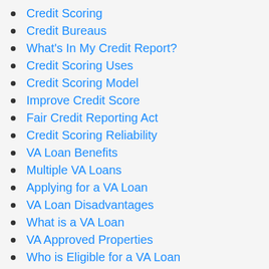Credit Scoring
Credit Bureaus
What's In My Credit Report?
Credit Scoring Uses
Credit Scoring Model
Improve Credit Score
Fair Credit Reporting Act
Credit Scoring Reliability
VA Loan Benefits
Multiple VA Loans
Applying for a VA Loan
VA Loan Disadvantages
What is a VA Loan
VA Approved Properties
Who is Eligible for a VA Loan
Refinance Cost
Refinancing Before Moving
What are Loan Points
Late Credit Card Payments